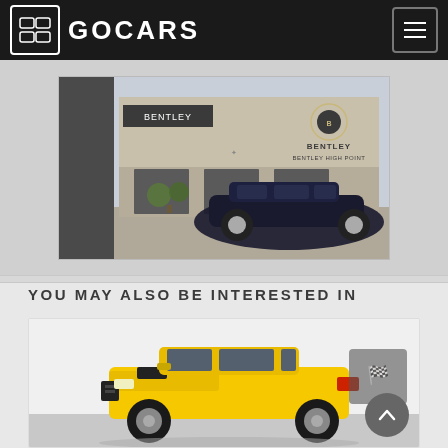GOCARS
[Figure (photo): Bentley dealership building exterior with a dark Bentley car parked in front. Sign reads BENTLEY and BENTLEY HIGH POINT.]
YOU MAY ALSO BE INTERESTED IN
[Figure (photo): Yellow Dodge Charger SRT8 sports car photographed in a studio or showroom setting.]